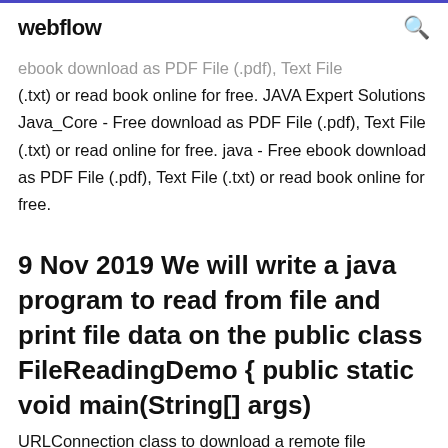webflow
ebook download as PDF File (.pdf), Text File (.txt) or read book online for free. JAVA Expert Solutions Java_Core - Free download as PDF File (.pdf), Text File (.txt) or read online for free. java - Free ebook download as PDF File (.pdf), Text File (.txt) or read book online for free.
9 Nov 2019 We will write a java program to read from file and print file data on the public class FileReadingDemo { public static void main(String[] args)
URLConnection class to download a remote file